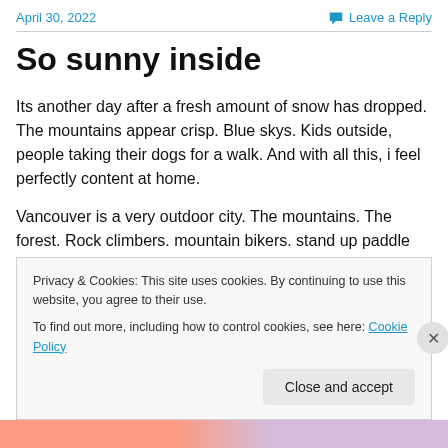April 30, 2022
Leave a Reply
So sunny inside
Its another day after a fresh amount of snow has dropped. The mountains appear crisp. Blue skys. Kids outside, people taking their dogs for a walk. And with all this, i feel perfectly content at home.
Vancouver is a very outdoor city. The mountains. The forest. Rock climbers. mountain bikers. stand up paddle
Privacy & Cookies: This site uses cookies. By continuing to use this website, you agree to their use.
To find out more, including how to control cookies, see here: Cookie Policy
Close and accept